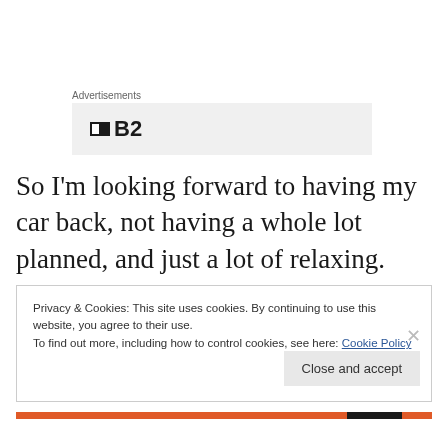Advertisements
[Figure (screenshot): Advertisement placeholder box with a small icon and 'B2' text]
So I'm looking forward to having my car back, not having a whole lot planned, and just a lot of relaxing.  That's my kind of vacation!
Privacy & Cookies: This site uses cookies. By continuing to use this website, you agree to their use.
To find out more, including how to control cookies, see here: Cookie Policy
Close and accept